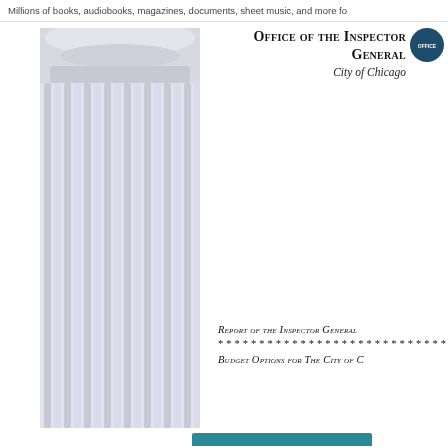Millions of books, audiobooks, magazines, documents, sheet music, and more fo
[Figure (photo): Architectural photo of classical stone column with fluted shaft and ornate Corinthian capital, in grayscale]
Office of the Inspector General
City of Chicago
Report of the Inspector General
****************************
Budget Options for The City of C